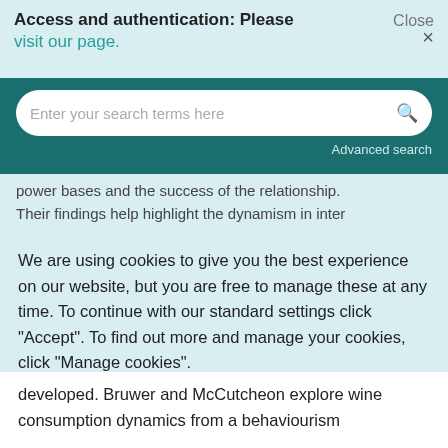Access and authentication: Please visit our page.
[Figure (screenshot): Search bar with placeholder text 'Enter your search terms here' and a search icon, on a dark teal background, with 'Advanced search' link below]
power bases and the success of the relationship. Their findings help highlight the dynamism in inter
We are using cookies to give you the best experience on our website, but you are free to manage these at any time. To continue with our standard settings click "Accept". To find out more and manage your cookies, click "Manage cookies".
Accept  ✓   Manage cookies   ×
developed. Bruwer and McCutcheon explore wine consumption dynamics from a behaviourism